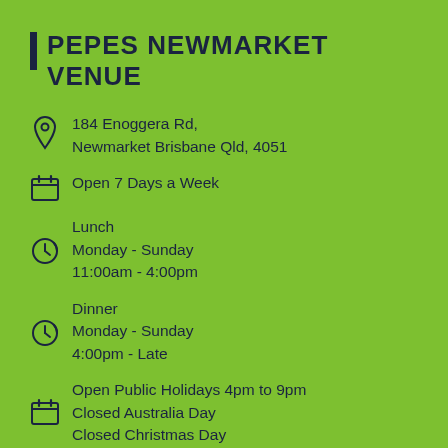PEPES NEWMARKET VENUE
184 Enoggera Rd,
Newmarket Brisbane Qld, 4051
Open 7 Days a Week
Lunch
Monday - Sunday
11:00am - 4:00pm
Dinner
Monday - Sunday
4:00pm - Late
Open Public Holidays 4pm to 9pm
Closed Australia Day
Closed Christmas Day